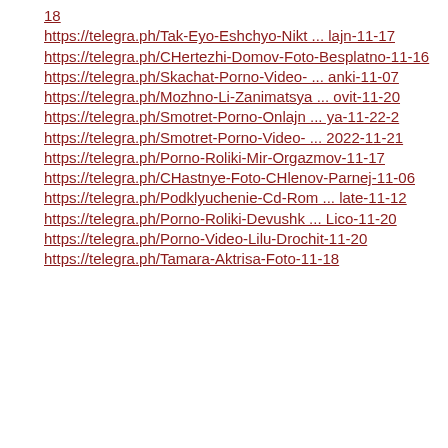18
https://telegra.ph/Tak-Eyo-Eshchyo-Nikt ... lajn-11-17
https://telegra.ph/CHertezhi-Domov-Foto-Besplatno-11-16
https://telegra.ph/Skachat-Porno-Video- ... anki-11-07
https://telegra.ph/Mozhno-Li-Zanimatsya ... ovit-11-20
https://telegra.ph/Smotret-Porno-Onlajn ... ya-11-22-2
https://telegra.ph/Smotret-Porno-Video- ... 2022-11-21
https://telegra.ph/Porno-Roliki-Mir-Orgazmov-11-17
https://telegra.ph/CHastnye-Foto-CHlenov-Parnej-11-06
https://telegra.ph/Podklyuchenie-Cd-Rom ... late-11-12
https://telegra.ph/Porno-Roliki-Devushk ... Lico-11-20
https://telegra.ph/Porno-Video-Lilu-Drochit-11-20
https://telegra.ph/Tamara-Aktrisa-Foto-11-18